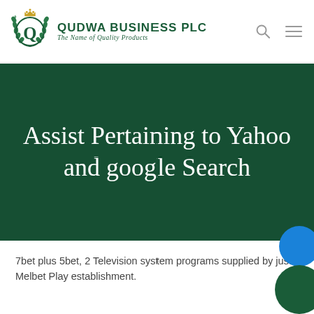[Figure (logo): Qudwa Business PLC logo with circular emblem and green text]
QUDWA BUSINESS PLC – The Name of Quality Products
Assist Pertaining to Yahoo and google Search
7bet plus 5bet, 2 Television system programs supplied by just Melbet Play establishment.